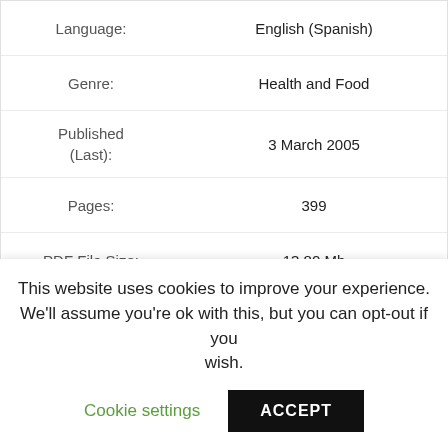| Field | Value |
| --- | --- |
| Language: | English (Spanish) |
| Genre: | Health and Food |
| Published (Last): | 3 March 2005 |
| Pages: | 399 |
| PDF File Size: | 13.80 Mb |
| ePub File Size: | 8.49 Mb |
| ISBN: | 829-3-51628-948-2 |
| Downloads: | 37791 |
| Price: | Free* [*Free Regsitration Required] |
| Uploader: | Daik |
This website uses cookies to improve your experience. We'll assume you're ok with this, but you can opt-out if you wish.
Cookie settings
ACCEPT